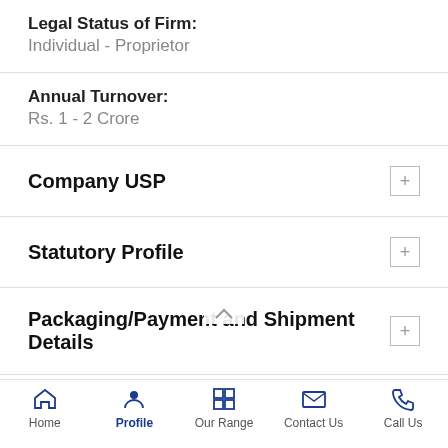Legal Status of Firm:
Individual - Proprietor
Annual Turnover:
Rs. 1 - 2 Crore
Company USP
Statutory Profile
Packaging/Payment and Shipment Details
Products Portfolio
We bring forth a gamut of pristine PVC Products which are fabricated using the high-quality raw
Home | Profile | Our Range | Contact Us | Call Us